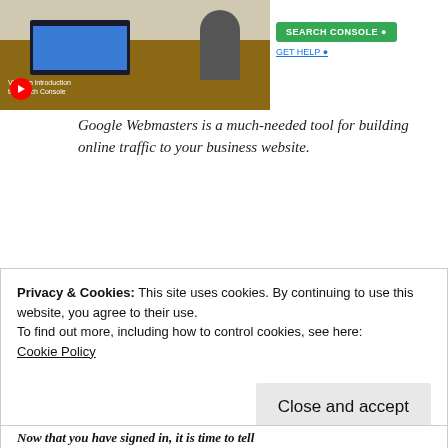[Figure (screenshot): Screenshot of Google Search Console / Google Webmasters interface showing a video thumbnail with a red play button on the left, and a green 'SEARCH CONSOLE' button and 'GET HELP' link on the right]
Google Webmasters is a much-needed tool for building online traffic to your business website.
STEP 2
Privacy & Cookies: This site uses cookies. By continuing to use this website, you agree to their use.
To find out more, including how to control cookies, see here:
Cookie Policy
Now that you have signed in, it is time to tell